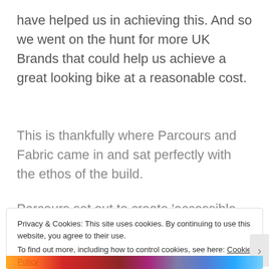have helped us in achieving this. And so we went on the hunt for more UK Brands that could help us achieve a great looking bike at a reasonable cost.
This is thankfully where Parcours and Fabric came in and sat perfectly with the ethos of the build.
Parcours set out to create ‘accessible aero,’
Privacy & Cookies: This site uses cookies. By continuing to use this website, you agree to their use.
To find out more, including how to control cookies, see here: Cookie Policy
Close and accept